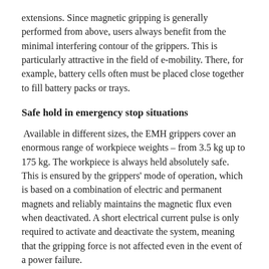extensions. Since magnetic gripping is generally performed from above, users always benefit from the minimal interfering contour of the grippers. This is particularly attractive in the field of e-mobility. There, for example, battery cells often must be placed close together to fill battery packs or trays.
Safe hold in emergency stop situations
Available in different sizes, the EMH grippers cover an enormous range of workpiece weights – from 3.5 kg up to 175 kg. The workpiece is always held absolutely safe. This is ensured by the grippers' mode of operation, which is based on a combination of electric and permanent magnets and reliably maintains the magnetic flux even when deactivated. A short electrical current pulse is only required to activate and deactivate the system, meaning that the gripping force is not affected even in the event of a power failure.
At a time when companies are paying more and more attention to their energy footprint, the magnetic grippers are also a real plus in terms of efficiency: they are powered by economical 24